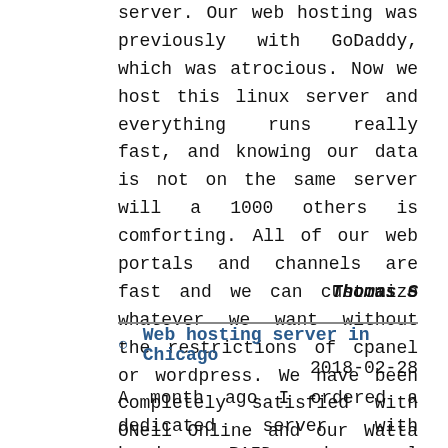server. Our web hosting was previously with GoDaddy, which was atrocious. Now we host this linux server and everything runs really fast, and knowing our data is not on the same server will a 1000 others is comforting. All of our web portals and channels are fast and we can customize whatever we want without the restrictions of cpanel or wordpress. We have been completely satisfied with ONeil Online and our Watta Server. No downtime, no connectivity issues, it has always been fast. Been up and running for over a year.
Thomas S
Web hosting server in Chicago
2018-02-28
A month ago I ordered a dedicated server with hardware RAID and cpanel for our growing web design firm here in Chicago. We have clients mostly within a 200 mile radius of Chicago so network speed shouldn't be an issue. Some of the web sites we host are database-driven for bigger customers.